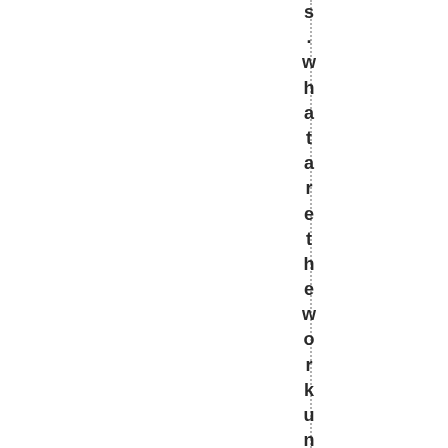s .whataretheworkunitsandworklo